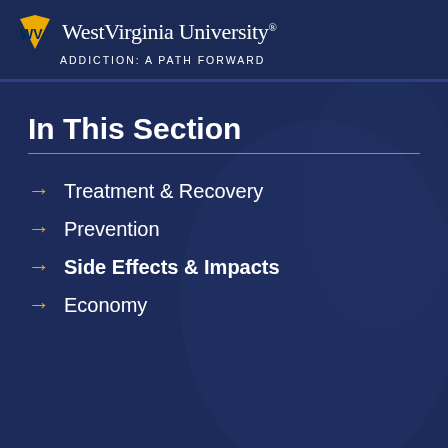West Virginia University. ADDICTION: A PATH FORWARD
In This Section
Treatment & Recovery
Prevention
Side Effects & Impacts
Economy